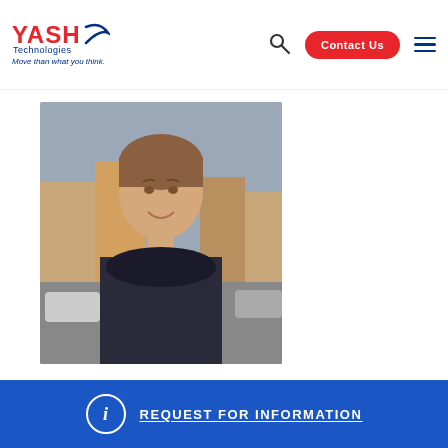[Figure (logo): YASH Technologies logo with red YASH text, blue Technologies text, swoosh graphic, and tagline 'Move than what you think.']
[Figure (photo): Portrait photo of Sean Hamill, a young man smiling on a European street, wearing a dark scarf and jacket]
Sean Hamill
Cloud Architect Microsoft
REQUEST FOR INFORMATION